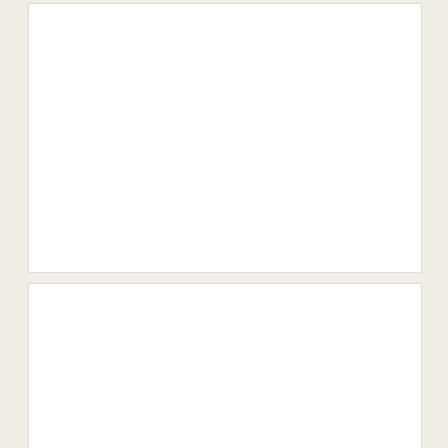[Figure (other): White content box (blank)]
[Figure (other): White content box (blank)]
RECENT POSTS
JOYMI: Only Murders in the Building Recap for Sparring
[Figure (other): Advertisement overlay: 1-800-flowers.com - Now in the Plant Shop, Fresh picks for summer. SEE WHAT'S NEW button. Infolinks badge. Close button.]
[Figure (other): White content box (blank) at bottom]